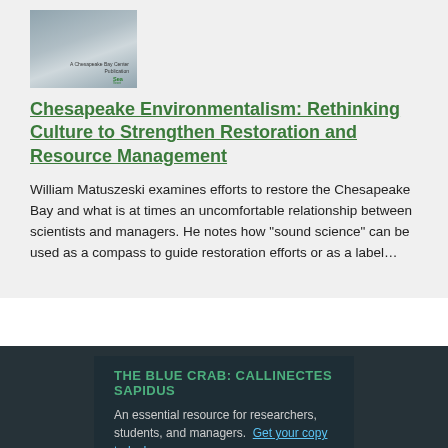[Figure (photo): Book cover image for Chesapeake Environmentalism publication]
Chesapeake Environmentalism: Rethinking Culture to Strengthen Restoration and Resource Management
William Matuszeski examines efforts to restore the Chesapeake Bay and what is at times an uncomfortable relationship between scientists and managers. He notes how "sound science" can be used as a compass to guide restoration efforts or as a label…
THE BLUE CRAB: CALLINECTES SAPIDUS
An essential resource for researchers, students, and managers.  Get your copy today!